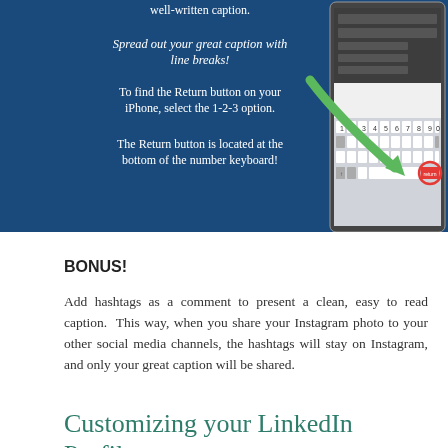[Figure (screenshot): Screenshot of an Instagram tutorial infographic with dark blue background showing instructions about line breaks and return button on iPhone keyboard, with a smartphone screenshot on the right showing a keyboard with a red-circled return button and a green arrow pointing to it.]
BONUS!
Add hashtags as a comment to present a clean, easy to read caption.  This way, when you share your Instagram photo to your other social media channels, the hashtags will stay on Instagram, and only your great caption will be shared.
Customizing your LinkedIn Profile
Posted On 7 Oct 2016    By Sheila Heffernan
In Digital Content, LinkedIn, Social Media, Tips and Advice